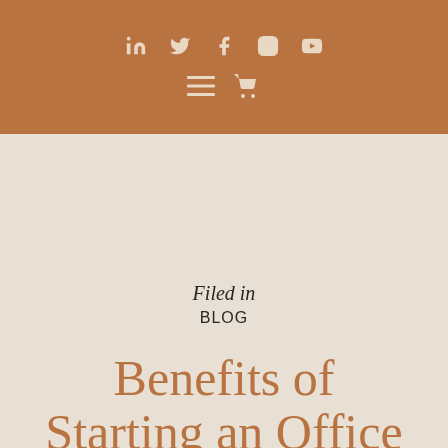Social icons: LinkedIn, Twitter, Facebook, Instagram, YouTube; Navigation: menu, cart
Filed in
BLOG
Benefits of Starting an Office